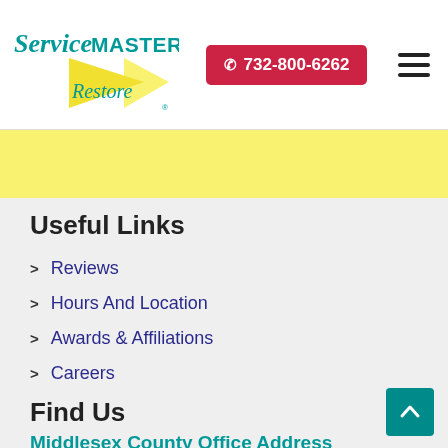[Figure (logo): ServiceMaster Restore logo with teal text and yellow triangle]
732-800-6262
Useful Links
Reviews
Hours And Location
Awards & Affiliations
Careers
Find Us
Middlesex County Office Address